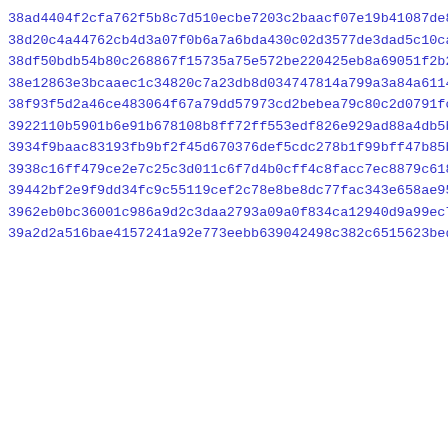38ad4404f2cfa762f5b8c7d510ecbe7203c2baacf07e19b41087de8fb13ae
38d20c4a44762cb4d3a07f0b6a7a6bda430c02d3577de3dad5c10cac8ebda
38df50bdb54b80c268867f15735a75e572be220425eb8a69051f2b2441966
38e12863e3bcaaec1c34820c7a23db8d034747814a799a3a84a61146f4f7b
38f93f5d2a46ce483064f67a79dd57973cd2bebea79c80c2d0791fce273f4
3922110b5901b6e91b678108b8ff72ff553edf826e929ad88a4db5b74cc75
3934f9baac83193fb9bf2f45d670376def5cdc278b1f99bff47b85b76384d
3938c16ff479ce2e7c25c3d011c6f7d4b0cff4c8facc7ec8879c618e680aa
39442bf2e9f9dd34fc9c55119cef2c78e8be8dc77fac343e658ae954d782a
3962eb0bc36001c986a9d2c3daa2793a09a0f834ca12940d9a99ec7bba50e
39a2d2a516bae4157241a92e773eebb639042498c382c6515623beda2f74a